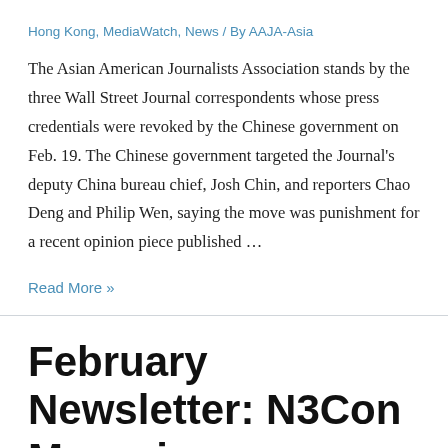Hong Kong, MediaWatch, News / By AAJA-Asia
The Asian American Journalists Association stands by the three Wall Street Journal correspondents whose press credentials were revoked by the Chinese government on Feb. 19. The Chinese government targeted the Journal's deputy China bureau chief, Josh Chin, and reporters Chao Deng and Philip Wen, saying the move was punishment for a recent opinion piece published …
Read More »
February Newsletter: N3Con Magazine Recruiting — Fact-Checking